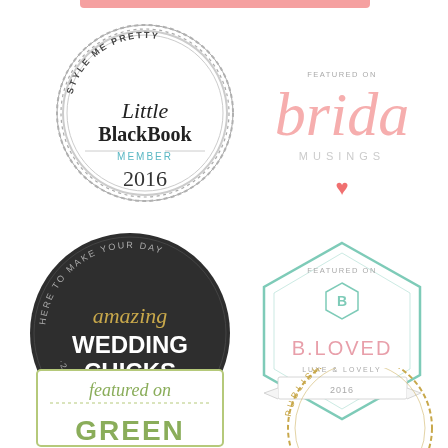[Figure (logo): Style Me Pretty Little BlackBook Member 2016 circular badge with gear/serrated edge border]
[Figure (logo): Bridal Musings Featured On badge with pink script text and heart]
[Figure (logo): Wedding Chicks dark circular badge: Here to make your day amazing, 2016 Vendor]
[Figure (logo): B.Loved Featured On hexagonal badge, Luxe & Lovely, 2016]
[Figure (logo): Featured on Green wedding blog badge (partially visible)]
[Figure (logo): Published On circular badge with gold border (partially visible)]